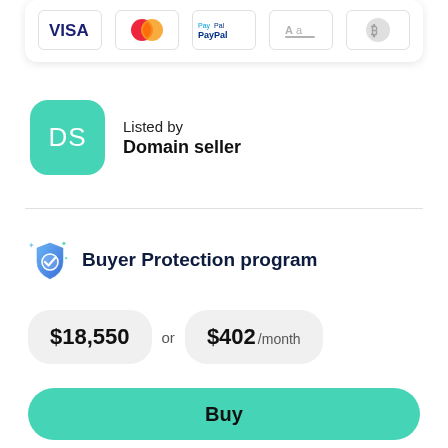[Figure (other): Payment method icons: Visa, Mastercard, PayPal, Afterpay/Zip, Bitcoin]
Listed by
Domain seller
Buyer Protection program
$18,550 or $402 /month
Buy